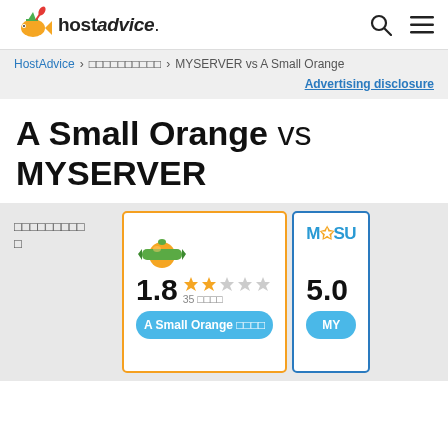hostadvice.
HostAdvice > ใบนนนนนนนน > MYSERVER vs A Small Orange
Advertising disclosure
A Small Orange vs MYSERVER
ใบนนนนนนนน □
[Figure (other): A Small Orange logo with orange fruit and banner]
1.8 ★★☆☆☆ 35 รีวิว
A Small Orange รีวิว
[Figure (logo): MYSERVER logo in blue and yellow]
5.0